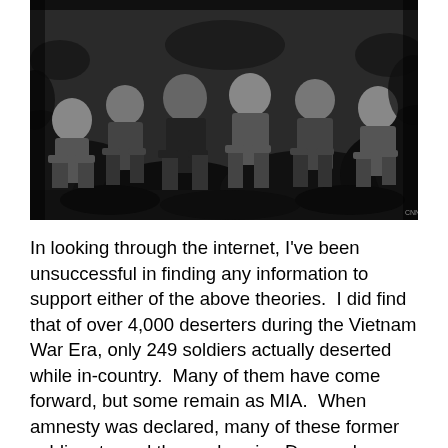[Figure (photo): Black and white photograph of a group of soldiers or fighters sitting together outdoors in what appears to be a jungle or forested setting during the Vietnam War era.]
In looking through the internet, I've been unsuccessful in finding any information to support either of the above theories.  I did find that of over 4,000 deserters during the Vietnam War Era, only 249 soldiers actually deserted while in-country.  Many of them have come forward, but some remain as MIA.  When amnesty was declared, many of these former soldiers turned themselves in.  Dozens have chosen to remain in other countries outside of the U.S. since receiving citizenship during that time.  Yet a handful remain hiding within the U.S..  A few have been